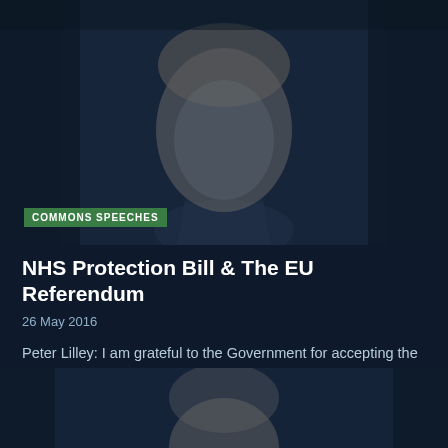[Figure (photo): Black and white/dark toned photo of a man (Peter Lilley) looking upward, wearing a suit, on dark navy background]
COMMONS SPEECHES
NHS Protection Bill & The EU Referendum
26 May 2016
Peter Lilley: I am grateful to the Government for accepting the amendment, in my name and that of many...
[Figure (photo): Partial photo of a person (top of head/hair visible), dark toned, on navy background]